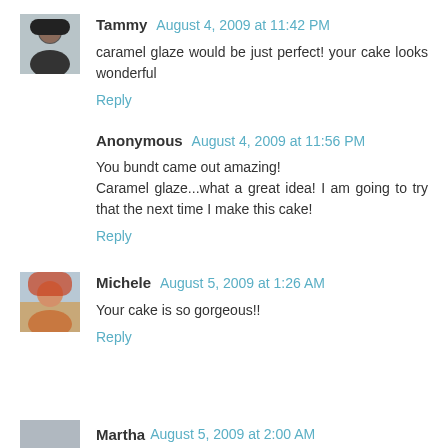[Figure (photo): Avatar photo of Tammy - woman with dark hair]
Tammy August 4, 2009 at 11:42 PM
caramel glaze would be just perfect! your cake looks wonderful
Reply
Anonymous August 4, 2009 at 11:56 PM
You bundt came out amazing!
Caramel glaze...what a great idea! I am going to try that the next time I make this cake!
Reply
[Figure (photo): Avatar photo of Michele - person in outdoor/winter setting]
Michele August 5, 2009 at 1:26 AM
Your cake is so gorgeous!!
Reply
Martha August 5, 2009 at 2:00 AM (partial)